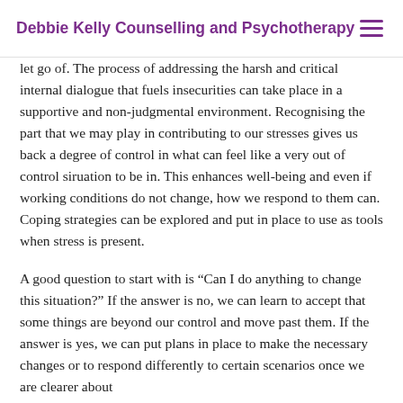Debbie Kelly Counselling and Psychotherapy
let go of. The process of addressing the harsh and critical internal dialogue that fuels insecurities can take place in a supportive and non-judgmental environment. Recognising the part that we may play in contributing to our stresses gives us back a degree of control in what can feel like a very out of control siruation to be in. This enhances well-being and even if working conditions do not change, how we respond to them can. Coping strategies can be explored and put in place to use as tools when stress is present.
A good question to start with is “Can I do anything to change this situation?” If the answer is no, we can learn to accept that some things are beyond our control and move past them. If the answer is yes, we can put plans in place to make the necessary changes or to respond differently to certain scenarios once we are clearer about